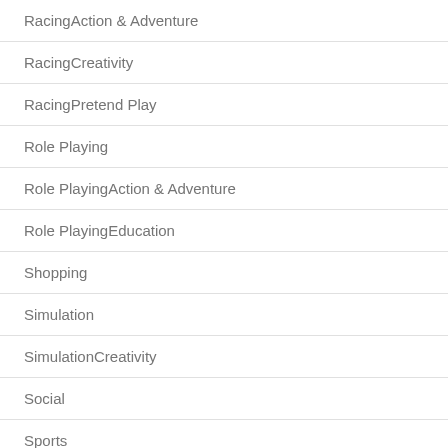RacingAction & Adventure
RacingCreativity
RacingPretend Play
Role Playing
Role PlayingAction & Adventure
Role PlayingEducation
Shopping
Simulation
SimulationCreativity
Social
Sports
Sports
Strategy